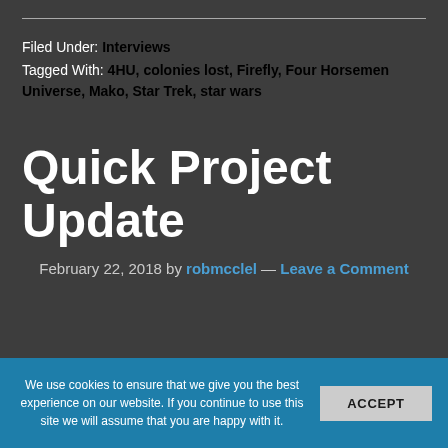Filed Under: Interviews
Tagged With: 4HU, colonies lost, Firefly, Four Horsemen Universe, Mako, Star Trek, star wars
Quick Project Update
February 22, 2018 by robmcclel — Leave a Comment
We use cookies to ensure that we give you the best experience on our website. If you continue to use this site we will assume that you are happy with it.